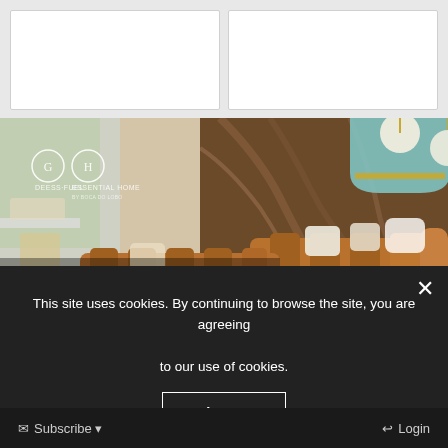[Figure (photo): Two white card placeholders side by side on gray background]
[Figure (photo): Interior design advertisement showing a modern living room with brown leather sectional sofas, decorative pendants, and marble wall. Text overlay reads: NEUTRAL MODERN HOME IN MILAN WITH DRAGA&AUREL, STEP INSIDE >. Logos for DEESS+FUEL and ESSENTIAL HOME visible top left.]
This site uses cookies. By continuing to browse the site, you are agreeing to our use of cookies.
Agree
Subscribe
Login